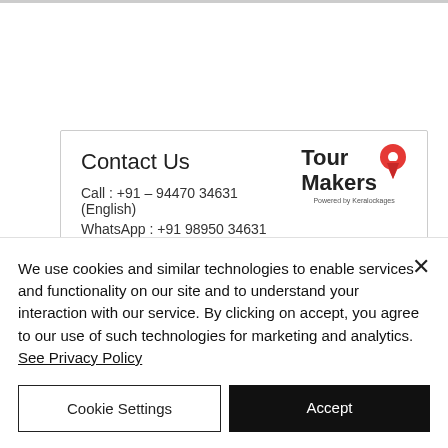Contact Us
Call : +91 – 94470 34631 (English)
WhatsApp : +91 98950 34631
[Figure (logo): Tour Makers logo with map pin icon and tagline 'Powered by Keralockages']
We use cookies and similar technologies to enable services and functionality on our site and to understand your interaction with our service. By clicking on accept, you agree to our use of such technologies for marketing and analytics. See Privacy Policy
Cookie Settings
Accept